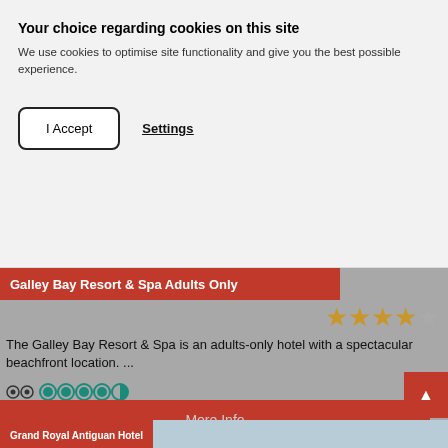Your choice regarding cookies on this site
We use cookies to optimise site functionality and give you the best possible experience.
I Accept
Settings
Galley Bay Resort & Spa Adults Only
[Figure (other): 4 out of 5 stars rating]
The Galley Bay Resort & Spa is an adults-only hotel with a spectacular beachfront location. ...
[Figure (other): TripAdvisor logo and 5 circle rating bubbles]
Based on 4191 reviews
More Info
Grand Royal Antiguan Hotel